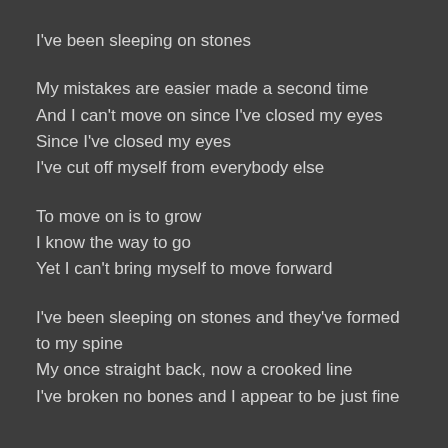I've been sleeping on stones
My mistakes are easier made a second time
And I can't move on since I've closed my eyes
Since I've closed my eyes
I've cut off myself from everybody else
To move on is to grow
I know the way to go
Yet I can't bring myself to move forward
I've been sleeping on stones and they've formed to my spine
My once straight back, now a crooked line
I've broken no bones and I appear to be just fine